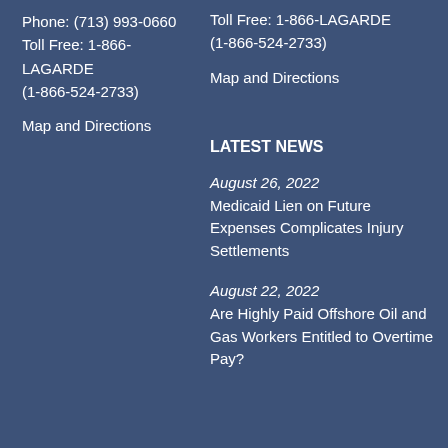Phone: (713) 993-0660
Toll Free: 1-866-LAGARDE
(1-866-524-2733)
Map and Directions
Toll Free: 1-866-LAGARDE
(1-866-524-2733)
Map and Directions
LATEST NEWS
August 26, 2022
Medicaid Lien on Future Expenses Complicates Injury Settlements
August 22, 2022
Are Highly Paid Offshore Oil and Gas Workers Entitled to Overtime Pay?